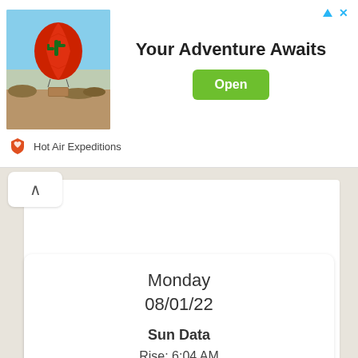[Figure (photo): Hot air balloon with cactus design flying over desert landscape at sunrise/sunset]
Your Adventure Awaits
Open
Hot Air Expeditions
Monday
08/01/22
Sun Data
Rise: 6:04 AM
Set: 7:54 PM
Day Length